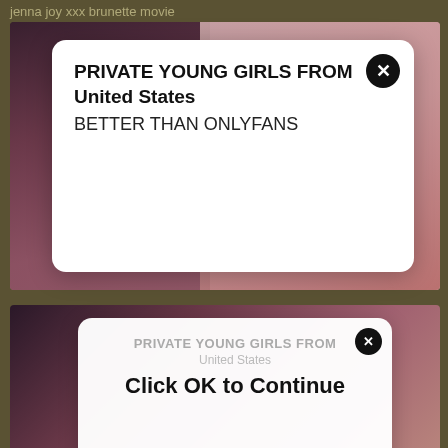jenna joy xxx brunette movie
[Figure (screenshot): Website screenshot showing adult video thumbnails with popup advertisements overlaid. Top thumbnail shows cosplay women. A white popup reads 'PRIVATE YOUNG GIRLS FROM United States BETTER THAN ONLYFANS' with X close button. A second popup dialog overlays showing 'PRIVATE YOUNG GIRLS FROM United States' behind text and 'Click OK to Continue' with OK button. Bottom thumbnail shows amateur tag and 10:20 duration.]
Hypno xxx amateur movie
8301
[Figure (screenshot): Partial thumbnail of blonde woman close-up face]